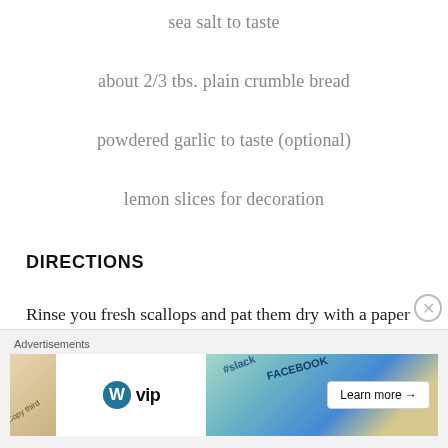sea salt to taste
about 2/3 tbs. plain crumble bread
powdered garlic to taste (optional)
lemon slices for decoration
DIRECTIONS
Rinse you fresh scallops and pat them dry with a paper towel. Arrange the shells in a big (or two smalls) oven sheet and place the mollusks in the “corner” of each shell (this way the dressing you are about to add, will cover
Advertisements